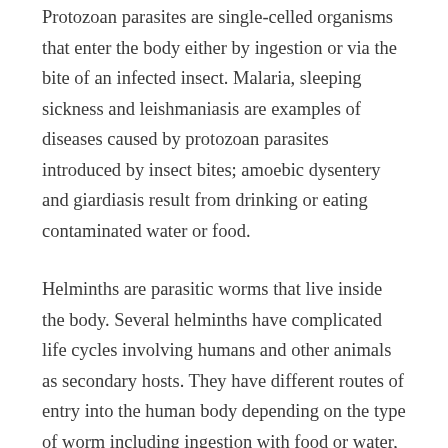Protozoan parasites are single-celled organisms that enter the body either by ingestion or via the bite of an infected insect. Malaria, sleeping sickness and leishmaniasis are examples of diseases caused by protozoan parasites introduced by insect bites; amoebic dysentery and giardiasis result from drinking or eating contaminated water or food.
Helminths are parasitic worms that live inside the body. Several helminths have complicated life cycles involving humans and other animals as secondary hosts. They have different routes of entry into the human body depending on the type of worm including ingestion with food or water, the faeco-oral route, insect bites and penetration through the skin. ‘Helminth’ is the general term used to describe several different types of parasitic worm. There are three main groups: tapeworms, roundworms and flukes...